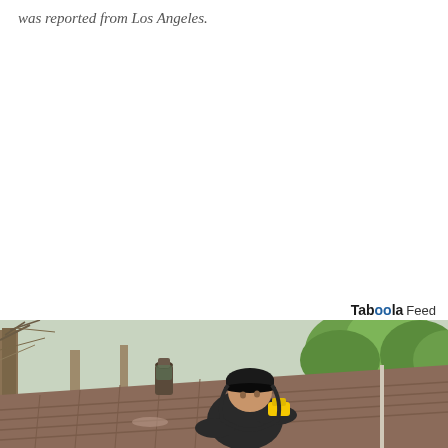was reported from Los Angeles.
[Figure (photo): A person in a dark hoodie and cap working on a residential roof with a yellow tool, with bare and leafy trees visible in the background. A chimney or vent pipe is visible on the roof.]
Taboola Feed